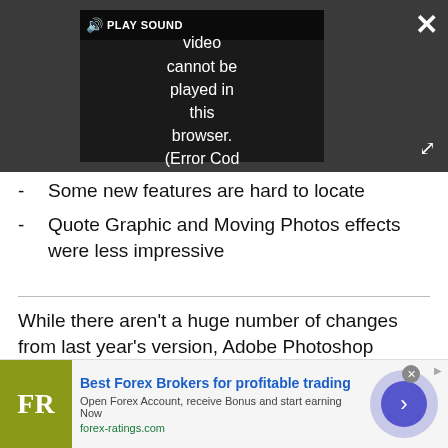[Figure (screenshot): Video player overlay on dark background showing 'PLAY SOUND' bar and error message: 'Video cannot be played in this browser. (Error Cod' with close and expand buttons]
Some new features are hard to locate
Quote Graphic and Moving Photos effects were less impressive
While there aren't a huge number of changes from last year's version, Adobe Photoshop Elements is our pick for best photo editing software overall for its ease of use, fun creativity and underlying power. While there's not much new from last year's version, Adobe's excellent interface and robust toolset— as
[Figure (screenshot): Advertisement banner for Best Forex Brokers for profitable trading from forex-ratings.com with FR logo]